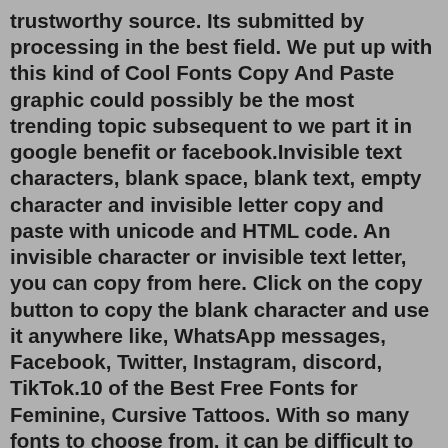trustworthy source. Its submitted by processing in the best field. We put up with this kind of Cool Fonts Copy And Paste graphic could possibly be the most trending topic subsequent to we part it in google benefit or facebook.Invisible text characters, blank space, blank text, empty character and invisible letter copy and paste with unicode and HTML code. An invisible character or invisible text letter, you can copy from here. Click on the copy button to copy the blank character and use it anywhere like, WhatsApp messages, Facebook, Twitter, Instagram, discord, TikTok.10 of the Best Free Fonts for Feminine, Cursive Tattoos. With so many fonts to choose from, it can be difficult to know where to start when working on a feminine, cursive tattoo. Luckily, there are a number of free fonts available that can help you achieve the look you're going for.Feb 11, 2015 · 1. Choose a font of your liking on copy and paste the download link into a new tab. 2. After the download, open the file and click install. 3. You can use the font in word. You can find it under the file font...